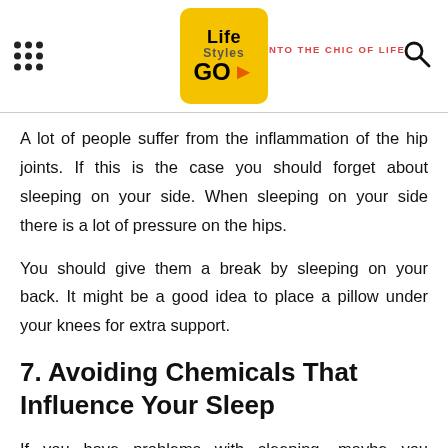Life Styles GO · STEP INTO THE CHIC OF LIFE.
A lot of people suffer from the inflammation of the hip joints. If this is the case you should forget about sleeping on your side. When sleeping on your side there is a lot of pressure on the hips.
You should give them a break by sleeping on your back. It might be a good idea to place a pillow under your knees for extra support.
7. Avoiding Chemicals That Influence Your Sleep
If you have problems with sleeping, maybe you shouldn't have that sixth coffee before you go to sleep. Naturally, it's not only caffeine that interferes with sleep because there is also alcohol and other things that affect the quality of sleep.